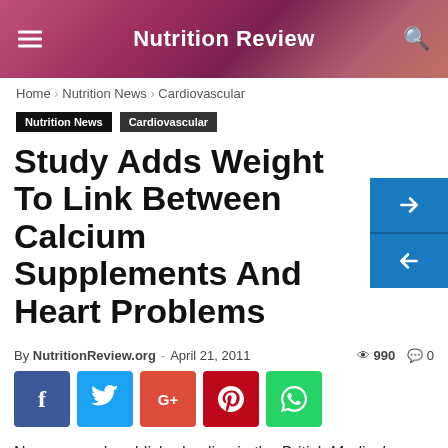Nutrition Review
Home › Nutrition News › Cardiovascular
Nutrition News   Cardiovascular
Study Adds Weight To Link Between Calcium Supplements And Heart Problems
By NutritionReview.org - April 21, 2011   990   0
[Figure (infographic): Social share buttons: Facebook, Twitter, Google+, Pinterest, WhatsApp]
New research published online in the British Medical Journal adds to mounting evidence that calcium supplements increase the risk of cardiovascular events, particularly heart